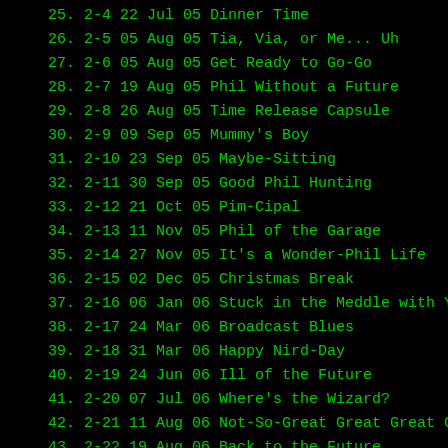25. 2-4 22 Jul 05 Dinner Time
26. 2-5 05 Aug 05 Tia, Via, or Me... Uh
27. 2-6 05 Aug 05 Get Ready to Go-Go
28. 2-7 19 Aug 05 Phil Without a Future
29. 2-8 26 Aug 05 Time Release Capsule
30. 2-9 09 Sep 05 Mummy's Boy
31. 2-10 23 Sep 05 Maybe-Sitting
32. 2-11 30 Sep 05 Good Phil Hunting
33. 2-12 21 Oct 05 Pim-Cipal
34. 2-13 11 Nov 05 Phil of the Garage
35. 2-14 27 Nov 05 It's a Wonder-Phil Life
36. 2-15 02 Dec 05 Christmas Break
37. 2-16 06 Jan 06 Stuck in the Meddle with You
38. 2-17 24 Mar 06 Broadcast Blues
39. 2-18 31 Mar 06 Happy Nird-Day
40. 2-19 24 Jun 06 Ill of the Future
41. 2-20 07 Jul 06 Where's the Wizard?
42. 2-21 11 Aug 06 Not-So-Great Great Great Grandpa
43. 2-22 19 Aug 06 Back to the Future